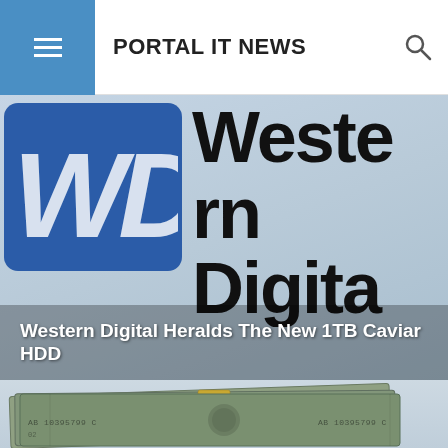PORTAL IT NEWS
[Figure (photo): Western Digital logo featuring WD blue square logo icon and 'Western Digital' text in large black bold font on light gray background, with article title overlay 'Western Digital Heralds The New 1TB Caviar HDD']
Western Digital Heralds The New 1TB Caviar HDD
[Figure (photo): Stacks of US dollar bills bundled with a gold/tan paper strap, viewed from above at an angle on a light blue-gray background]